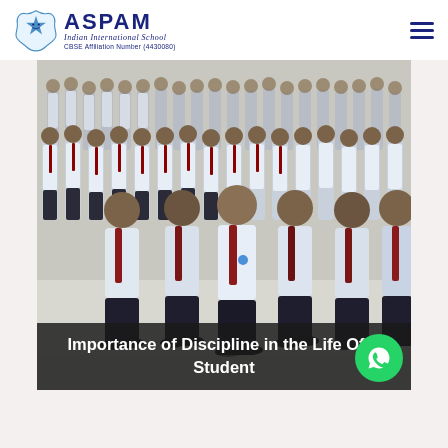ASPAM Indian International School CBSE Affiliation Number (4430080)
[Figure (photo): School students in white shirts and dark trousers with red ties, standing in formation/assembly lines in a school hall, viewed from an angle showing many rows of students]
Importance of Discipline in the Life Of A Student